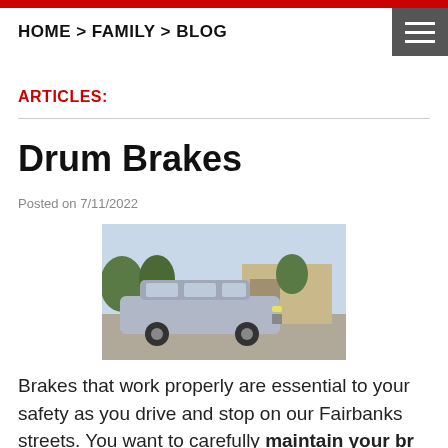HOME > FAMILY > BLOG
ARTICLES:
Drum Brakes
Posted on 7/11/2022
[Figure (photo): Silver minivan (Toyota Sienna) parked in a residential driveway]
Brakes that work properly are essential to your safety as you drive and stop on our Fairbanks streets. You want to carefully maintain your br...